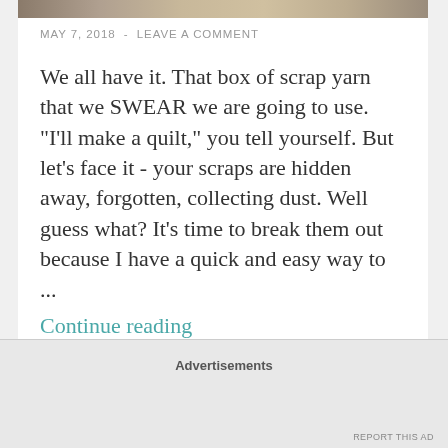[Figure (photo): Partial image strip at top of blog card, showing a blurred craft/yarn scene]
MAY 7, 2018  -  LEAVE A COMMENT
We all have it. That box of scrap yarn that we SWEAR we are going to use. "I'll make a quilt," you tell yourself. But let's face it - your scraps are hidden away, forgotten, collecting dust. Well guess what? It's time to break them out because I have a quick and easy way to ...
Continue reading
Advertisements
REPORT THIS AD